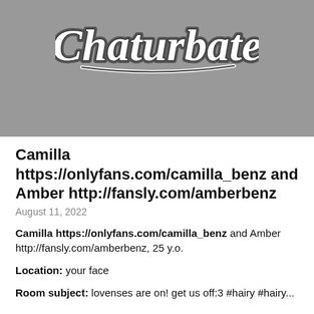[Figure (logo): Chaturbate logo on gray background]
Camilla https://onlyfans.com/camilla_benz and Amber http://fansly.com/amberbenz
August 11, 2022
Camilla https://onlyfans.com/camilla_benz and Amber http://fansly.com/amberbenz, 25 y.o.
Location: your face
Room subject: lovenses are on! get us off:3 #hairy #hairy...